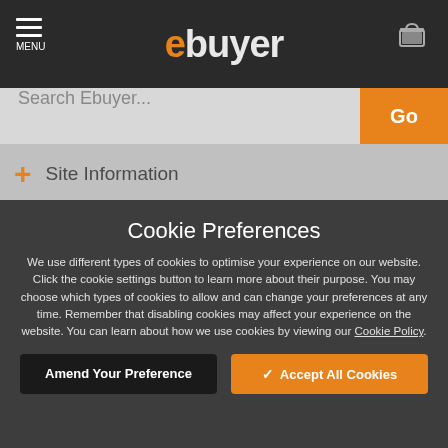ebuyer MENU
Search Ebuyer...
+ Site Information
Cookie Preferences
We use different types of cookies to optimise your experience on our website. Click the cookie settings button to learn more about their purpose. You may choose which types of cookies to allow and can change your preferences at any time. Remember that disabling cookies may affect your experience on the website. You can learn about how we use cookies by viewing our Cookie Policy.
Amend Your Preference
✓ Accept All Cookies